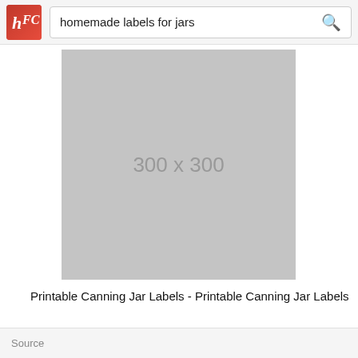homemade labels for jars
[Figure (other): Placeholder image showing 300 x 300 dimensions in gray]
Printable Canning Jar Labels - Printable Canning Jar Labels
Source